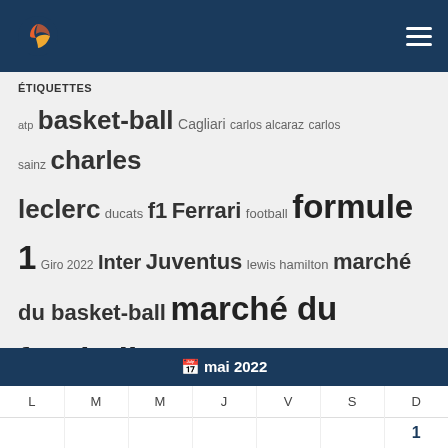Header with logo and navigation
ÉTIQUETTES
atp basket-ball Cagliari carlos alcaraz carlos sainz charles leclerc ducats f1 Ferrari football formule 1 Giro 2022 Inter Juventus lewis hamilton marché du basket-ball marché du football marché du football inter marché du football juventus marc marquez matteo berrettini max verstappen Mercedes Milan Monza motogp Naples nba novak djokovic Olimpia Milan Pecco Bagnaia pécheur jannik rafael nadal Red Bull roland garros 2022 Rome spot Série B tennis Turin Une série Valentino Rossi Virtus Bologna vélo wimbledon 2022
| L | M | M | J | V | S | D |
| --- | --- | --- | --- | --- | --- | --- |
|  |  |  |  |  |  | 1 |